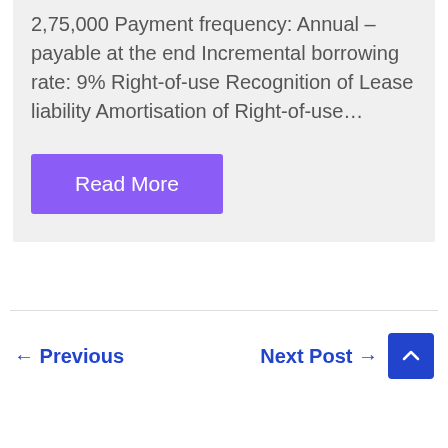2,75,000 Payment frequency: Annual – payable at the end Incremental borrowing rate: 9%  Right-of-use  Recognition of Lease liability Amortisation of Right-of-use…
Read More
← Previous
Next Post →
Post